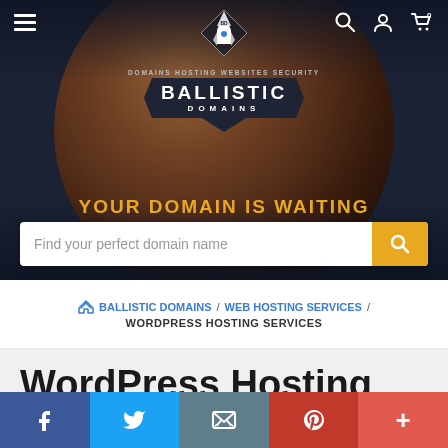[Figure (screenshot): Ballistic Domains website hero banner with dark space/planet background, logo, tagline 'YOUR DOMAIN IS WAITING', and domain search bar]
BALLISTIC DOMAINS / WEB HOSTING SERVICES / WORDPRESS HOSTING SERVICES
WordPress Hosting
[Figure (infographic): Social share bar with Facebook, Twitter, Email, Pinterest, and More (+) buttons]